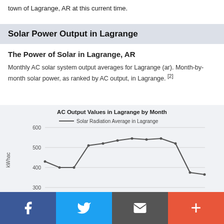town of Lagrange, AR at this current time.
Solar Power Output in Lagrange
The Power of Solar in Lagrange, AR
Monthly AC solar system output averages for Lagrange (ar). Month-by-month solar power, as ranked by AC output, in Lagrange. [2]
[Figure (line-chart): AC Output Values in Lagrange by Month]
f  Twitter  Email  +